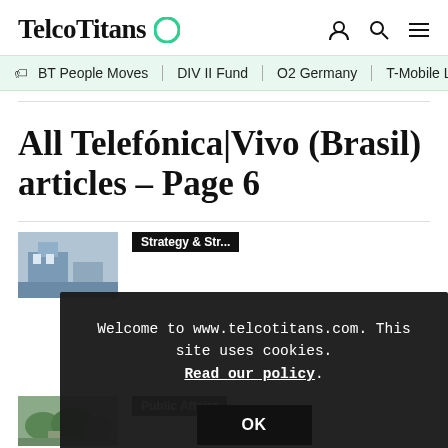TelcoTitans
BT People Moves | DIV II Fund | O2 Germany | T-Mobile Layo
All Telefónica|Vivo (Brasil) articles – Page 6
[Figure (photo): Article thumbnail image with building/logo]
Strategy & Stra...
Welcome to www.telcotitans.com. This site uses cookies. Read our policy.
OK
[Figure (photo): Article thumbnail image with trees/building]
Public Affairs